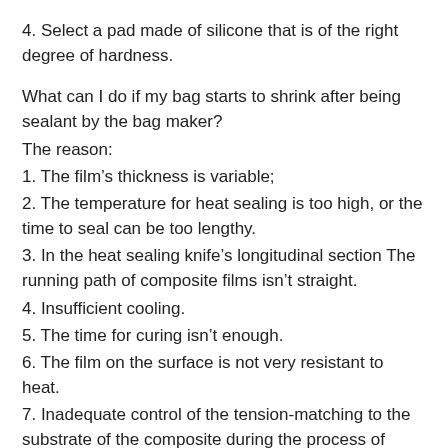4. Select a pad made of silicone that is of the right degree of hardness.
What can I do if my bag starts to shrink after being sealant by the bag maker?
The reason:
1. The film’s thickness is variable;
2. The temperature for heat sealing is too high, or the time to seal can be too lengthy.
3. In the heat sealing knife’s longitudinal section The running path of composite films isn’t straight.
4. Insufficient cooling.
5. The time for curing isn’t enough.
6. The film on the surface is not very resistant to heat.
7. Inadequate control of the tension-matching to the substrate of the composite during the process of